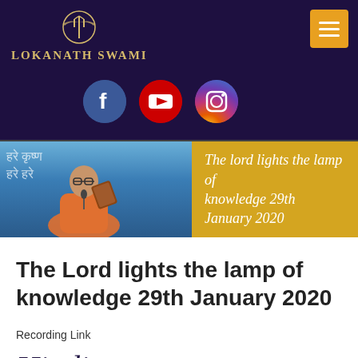Lokanath Swami
[Figure (photo): Banner image showing Lokanath Swami speaking at a microphone with text overlay: The lord lights the lamp of knowledge 29th January 2020]
The Lord lights the lamp of knowledge 29th January 2020
Recording Link
Hindi